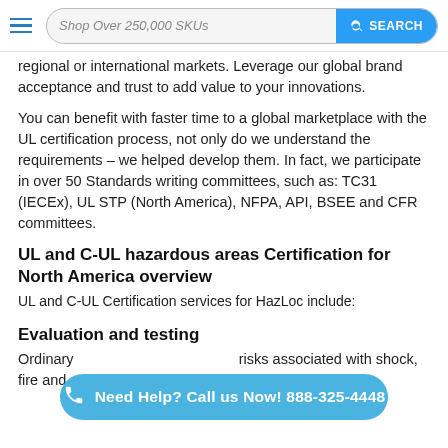Shop Over 250,000 SKUs  SEARCH
regional or international markets. Leverage our global brand acceptance and trust to add value to your innovations.
You can benefit with faster time to a global marketplace with the UL certification process, not only do we understand the requirements – we helped develop them. In fact, we participate in over 50 Standards writing committees, such as: TC31 (IECEx), UL STP (North America), NFPA, API, BSEE and CFR committees.
UL and C-UL hazardous areas Certification for North America overview
UL and C-UL Certification services for HazLoc include:
Evaluation and testing
Ordinarily risks associated with shock, fire and personal injury.